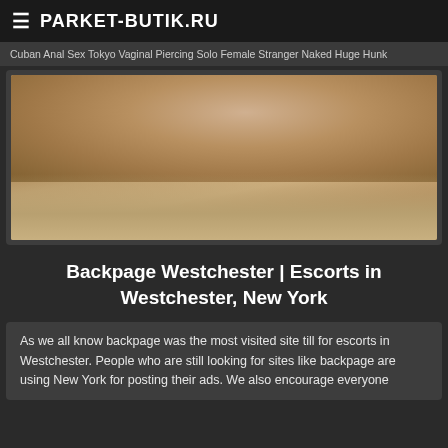PARKET-BUTIK.RU
Cuban  Anal Sex  Tokyo  Vaginal Piercing  Solo Female  Stranger  Naked  Huge  Hunk
[Figure (photo): Blurred/cropped adult content image with warm sandy tones]
Backpage Westchester | Escorts in Westchester, New York
As we all know backpage was the most visited site till for escorts in Westchester. People who are still looking for sites like backpage are using New York for posting their ads. We also encourage everyone